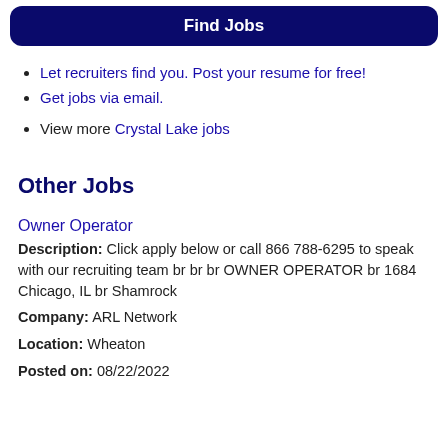Find Jobs
Let recruiters find you. Post your resume for free!
Get jobs via email.
View more Crystal Lake jobs
Other Jobs
Owner Operator
Description: Click apply below or call 866 788-6295 to speak with our recruiting team br br br OWNER OPERATOR br 1684 Chicago, IL br Shamrock
Company: ARL Network
Location: Wheaton
Posted on: 08/22/2022